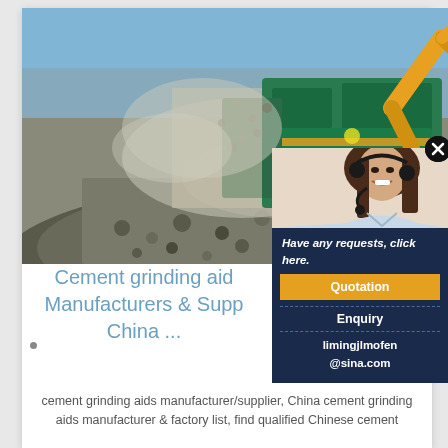[Figure (photo): Industrial quarry/crushing machine with green heavy equipment and excavator arm against a blue sky, with crushed stone/gravel pile in the foreground and dust in the air]
[Figure (photo): Female customer service agent smiling and wearing a headset]
Have any requests, click here.
Quotation
Enquiry
limingjlmofen@sina.com
Cement grinding aids Manufacturers & Suppliers, China ...
cement grinding aids manufacturer/supplier, China cement grinding aids manufacturer & factory list, find qualified Chinese cement